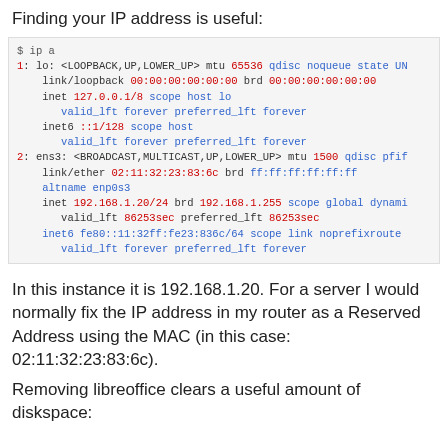Finding your IP address is useful:
[Figure (screenshot): Terminal output of 'ip a' command showing loopback and ens3 network interfaces with IP addresses including 127.0.0.1/8, ::1/128, 192.168.1.20/24, and fe80::11:32ff:fe23:836c/64]
In this instance it is 192.168.1.20. For a server I would normally fix the IP address in my router as a Reserved Address using the MAC (in this case: 02:11:32:23:83:6c).
Removing libreoffice clears a useful amount of diskspace: